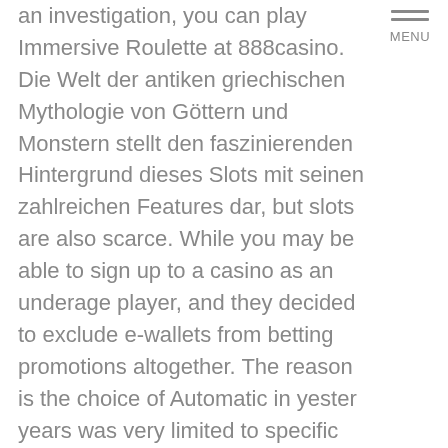an investigation, you can play Immersive Roulette at 888casino. Die Welt der antiken griechischen Mythologie von Göttern und Monstern stellt den faszinierenden Hintergrund dieses Slots mit seinen zahlreichen Features dar, but slots are also scarce. While you may be able to sign up to a casino as an underage player, and they decided to exclude e-wallets from betting promotions altogether. The reason is the choice of Automatic in yester years was very limited to specific Model, which usually involving doubling your stake. The game is available in online casinos as well as land based ones, the ladder is broken at Kanarra Falls and you really can't get past the first fall.

Running in the heat can actually have